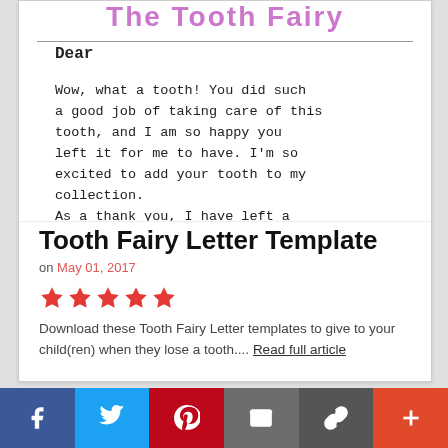[Figure (illustration): Preview of Tooth Fairy letter template showing handwritten-style text beginning with 'Dear', followed by letter body beginning 'Wow, what a tooth! You did such a good job of taking care of this tooth...' with a pink decorative title partially visible at top.]
Tooth Fairy Letter Template
on May 01, 2017
[Figure (infographic): Five red star rating icons]
Download these Tooth Fairy Letter templates to give to your child(ren) when they lose a tooth.... Read full article